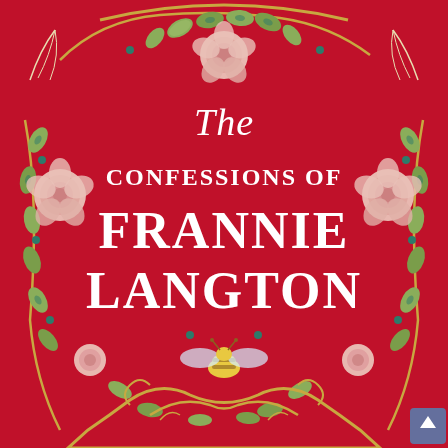[Figure (illustration): Book cover of 'The Confessions of Frannie Langton'. Deep crimson/red background with embroidered botanical design featuring roses, leaves on vines, and a golden bee at the center bottom. A decorative golden baroque frame element appears at the bottom. The title text is displayed in white serif lettering: 'The' in italic script at top, then 'CONFESSIONS OF' in arched serif caps, then 'FRANNIE' in large serif caps, then 'LANGTON' in large serif caps. A small scroll-up arrow button appears in the bottom-right corner.]